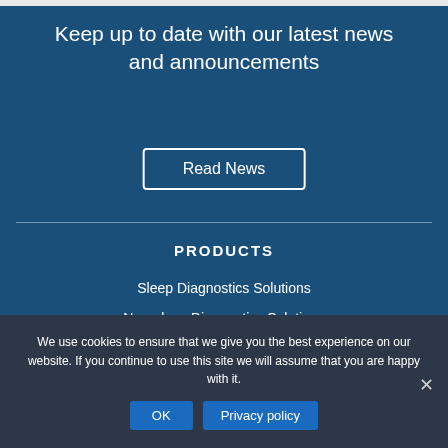Keep up to date with our latest news and announcements
Read News
PRODUCTS
Sleep Diagnostics Solutions
Neurology Diagnostics Solutions
We use cookies to ensure that we give you the best experience on our website. If you continue to use this site we will assume that you are happy with it.
OK
Privacy policy